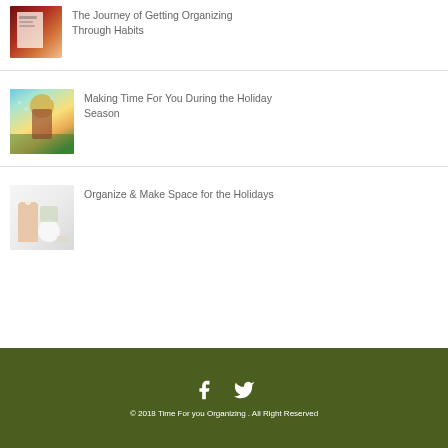[Figure (photo): Thumbnail of Atomic Habits book cover with dark red and orange tones]
The Journey of Getting Organizing Through Habits
[Figure (photo): Person with arms raised in a sunflower field wearing a hat, bright summer photo]
Making Time For You During the Holiday Season
[Figure (photo): Minimalist home decor with lamp, vase, and white objects on a table]
Organize & Make Space for the Holidays
© 2018 Time For you Organizing . All Right Reserved